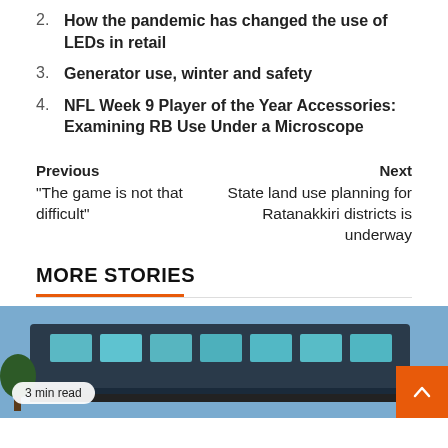2. How the pandemic has changed the use of LEDs in retail
3. Generator use, winter and safety
4. NFL Week 9 Player of the Year Accessories: Examining RB Use Under a Microscope
Previous
“The game is not that difficult”
Next
State land use planning for Ratanakkiri districts is underway
MORE STORIES
[Figure (photo): Photo of a bus, partially visible, with a '3 min read' badge overlay and an orange scroll-to-top button in the bottom right corner.]